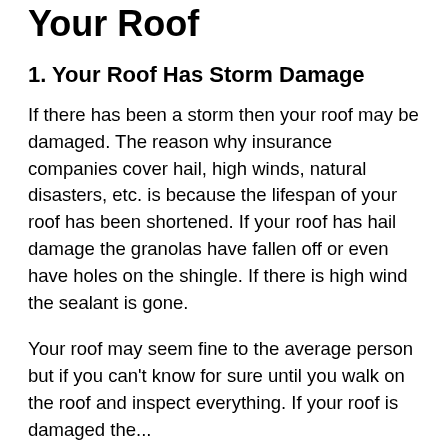Your Roof
1. Your Roof Has Storm Damage
If there has been a storm then your roof may be damaged. The reason why insurance companies cover hail, high winds, natural disasters, etc. is because the lifespan of your roof has been shortened. If your roof has hail damage the granolas have fallen off or even have holes on the shingle. If there is high wind the sealant is gone.
Your roof may seem fine to the average person but if you can't know for sure until you walk on the roof and inspect everything. If your roof is damaged the...